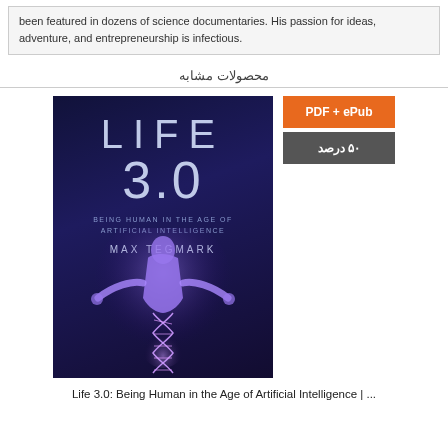been featured in dozens of science documentaries. His passion for ideas, adventure, and entrepreneurship is infectious.
محصولات مشابه
[Figure (photo): Book cover of 'Life 3.0: Being Human in the Age of Artificial Intelligence' by Max Tegmark. Dark blue/purple gradient background with a glowing human figure with arms outstretched and a double helix at the bottom.]
PDF + ePub
۵۰ درصد
Life 3.0: Being Human in the Age of Artificial Intelligence | ...